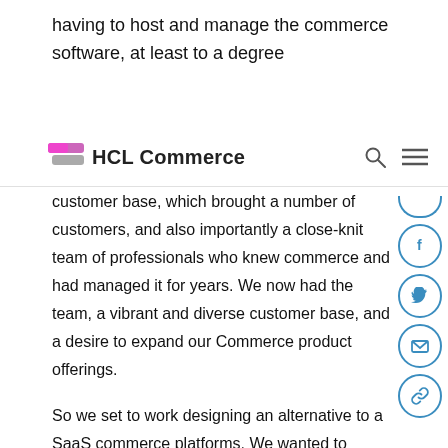having to host and manage the commerce software, at least to a degree
HCL Commerce
customer base, which brought a number of customers, and also importantly a close-knit team of professionals who knew commerce and had managed it for years. We now had the team, a vibrant and diverse customer base, and a desire to expand our Commerce product offerings.
So we set to work designing an alternative to a SaaS commerce platforms. We wanted to embrace our strengths – the reasons our customer base liked what we had to offer